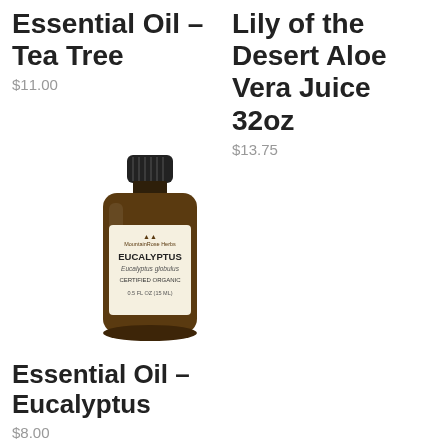Essential Oil – Tea Tree
$11.00
Lily of the Desert Aloe Vera Juice 32oz
$13.75
[Figure (photo): A small brown glass bottle of Eucalyptus essential oil with a black cap, labeled EUCALYPTUS, Eucalyptus globulus, Certified Organic, with a mountain logo.]
Essential Oil – Eucalyptus
$8.00